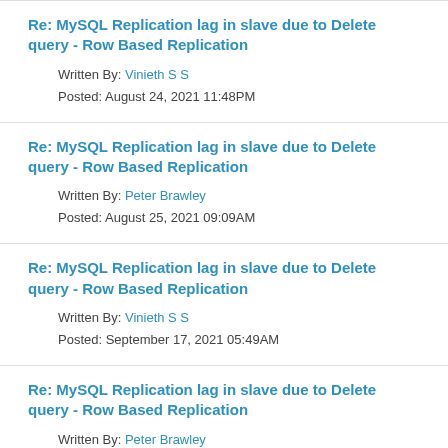Re: MySQL Replication lag in slave due to Delete query - Row Based Replication
Written By: Vinieth S S
Posted: August 24, 2021 11:48PM
Re: MySQL Replication lag in slave due to Delete query - Row Based Replication
Written By: Peter Brawley
Posted: August 25, 2021 09:09AM
Re: MySQL Replication lag in slave due to Delete query - Row Based Replication
Written By: Vinieth S S
Posted: September 17, 2021 05:49AM
Re: MySQL Replication lag in slave due to Delete query - Row Based Replication
Written By: Peter Brawley
Posted: September 17, 2021 10:17AM
Re: MySQL Replication lag in slave due to Delete query - Row